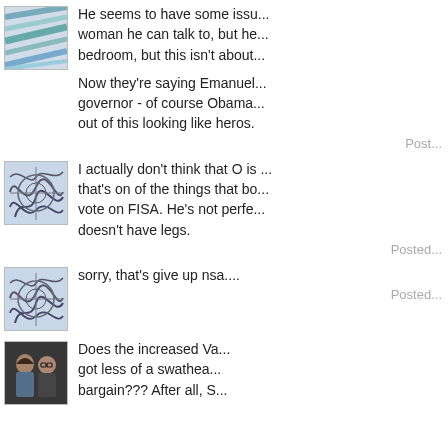[Figure (illustration): Abstract squiggly lines avatar (blue/gray)]
He seems to have some issue... woman he can talk to, but he... bedroom, but this isn't about...
Now they're saying Emanuel... governor - of course Obama... out of this looking like heros.
Posted
[Figure (illustration): Abstract squiggly lines avatar (blue/gray)]
I actually don't think that O is... that's on of the things that bo... vote on FISA. He's not perfe... doesn't have legs.
Posted
[Figure (illustration): Abstract squiggly lines avatar (blue/gray)]
sorry, that's give up nsa....
Posted
[Figure (photo): Photo of two people, a woman and a man with glasses, at an event]
Does the increased Va... got less of a swathea... bargain??? After all, S...